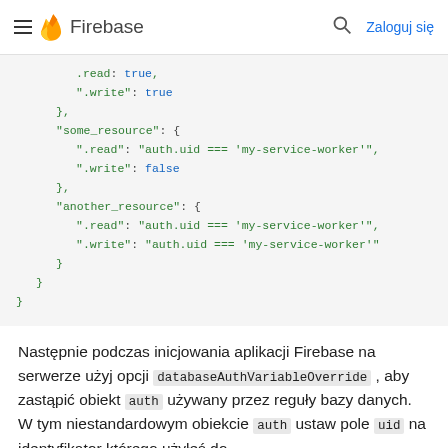Firebase  Zaloguj się
[Figure (screenshot): Firebase code block showing JSON security rules with .read and .write properties for some_resource and another_resource, using auth.uid === 'my-service-worker' conditions.]
Następnie podczas inicjowania aplikacji Firebase na serwerze użyj opcji databaseAuthVariableOverride , aby zastąpić obiekt auth używany przez reguły bazy danych. W tym niestandardowym obiekcie auth ustaw pole uid na identyfikator którego użyłeś do